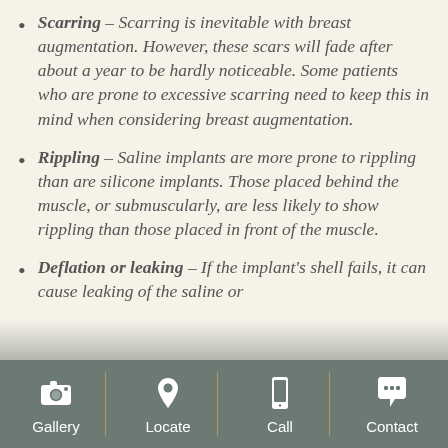Scarring – Scarring is inevitable with breast augmentation. However, these scars will fade after about a year to be hardly noticeable. Some patients who are prone to excessive scarring need to keep this in mind when considering breast augmentation.
Rippling – Saline implants are more prone to rippling than are silicone implants. Those placed behind the muscle, or submuscularly, are less likely to show rippling than those placed in front of the muscle.
Deflation or leaking – If the implant's shell fails, it can cause leaking of the saline or silicone...
Gallery | Locate | Call | Contact